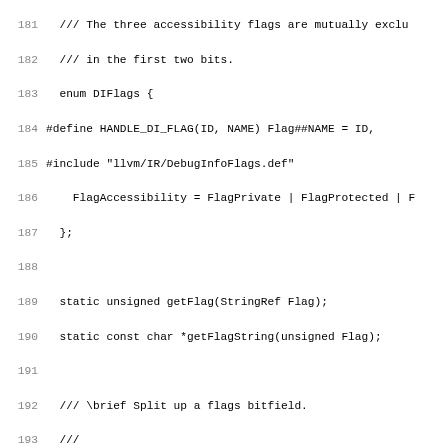Source code listing, lines 181-212, C++ header file with DIFlags enum and classof method
[Figure (screenshot): C++ source code showing DIFlags enum definition and static methods including getFlag, getFlagString, splitFlags, getRef, and classof with a switch statement covering various DINode kinds from lines 181 to 212+]